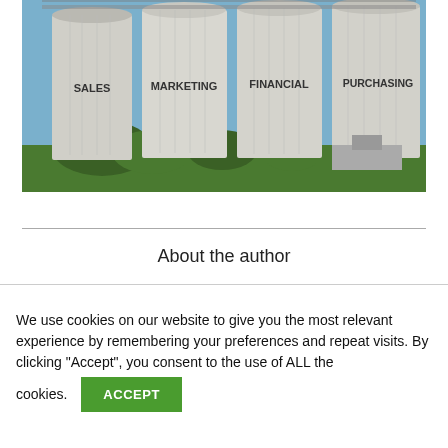[Figure (photo): Four large industrial grain silos labeled SALES, MARKETING, FINANCIAL, and PURCHASING, with trees and blue sky in the background.]
About the author
We use cookies on our website to give you the most relevant experience by remembering your preferences and repeat visits. By clicking "Accept", you consent to the use of ALL the cookies.